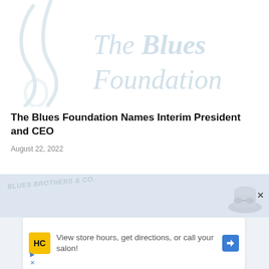[Figure (logo): The Blues Foundation logo — decorative guitar/music icon on left, text 'The Blues Foundation' in light blue serif font on right]
The Blues Foundation Names Interim President and CEO
August 22, 2022
[Figure (photo): Blues Brothers themed advertisement banner with hat-wearing figures in light blue tones]
[Figure (infographic): Advertisement card: HC logo icon (yellow), text 'View store hours, get directions, or call your salon!', blue diamond direction arrow icon]